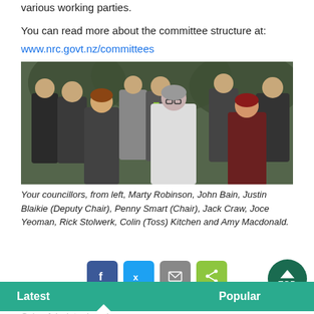various working parties.
You can read more about the committee structure at: www.nrc.govt.nz/committees
[Figure (photo): Group photo of nine councillors standing together indoors, men and women in formal attire, greenery in background.]
Your councillors, from left, Marty Robinson, John Bain, Justin Blaikie (Deputy Chair), Penny Smart (Chair), Jack Craw, Joce Yeoman, Rick Stolwerk, Colin (Toss) Kitchen and Amy Macdonald.
Social sharing buttons: Facebook, Twitter, Email, Share
Latest | Popular | TOP